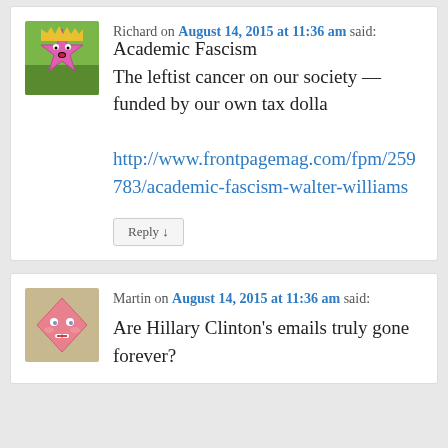Richard on August 14, 2015 at 11:36 am said:
Academic Fascism
The leftist cancer on our society — funded by our own tax dolla

http://www.frontpagemag.com/fpm/259783/academic-fascism-walter-williams
Reply ↓
Martin on August 14, 2015 at 11:36 am said:
Are Hillary Clinton's emails truly gone forever?